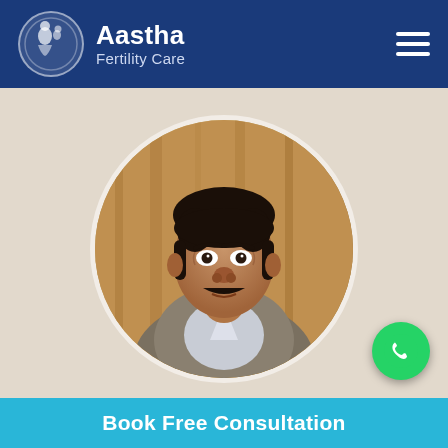Aastha Fertility Care
[Figure (photo): Circular portrait photo of a male doctor with dark hair and mustache, wearing a suit, against a warm beige/golden curtain background. A WhatsApp button (green circle with phone icon) is visible in the bottom-right corner.]
Book Free Consultation